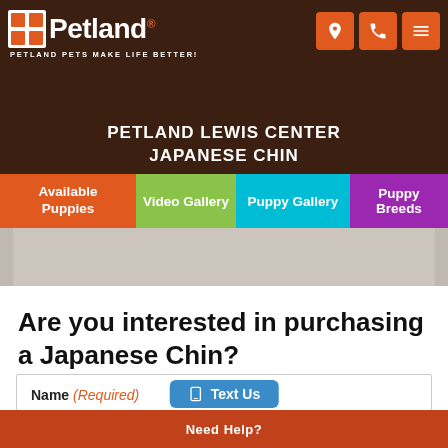Petland - PETLAND PETS MAKE LIFE BETTER!
PETLAND LEWIS CENTER
JAPANESE CHIN
Available Puppies | Video Gallery | Puppy Gallery | Puppy Breeds
[Figure (photo): Partial view of a puppy image, mostly gray/beige background]
Are you interested in purchasing a Japanese Chin?
Name (Required)
First Name
Need Help?